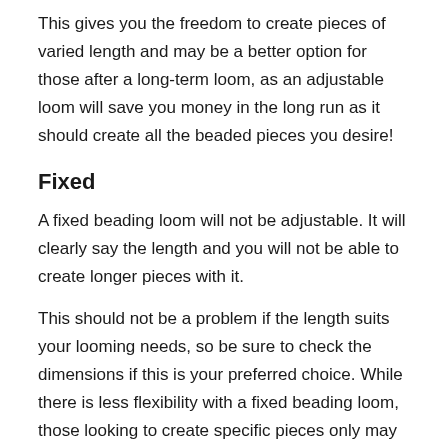This gives you the freedom to create pieces of varied length and may be a better option for those after a long-term loom, as an adjustable loom will save you money in the long run as it should create all the beaded pieces you desire!
Fixed
A fixed beading loom will not be adjustable. It will clearly say the length and you will not be able to create longer pieces with it.
This should not be a problem if the length suits your looming needs, so be sure to check the dimensions if this is your preferred choice. While there is less flexibility with a fixed beading loom, those looking to create specific pieces only may find this a more suitable choice for themselves.
Added extras?
While you may find a beading loom well within your price range